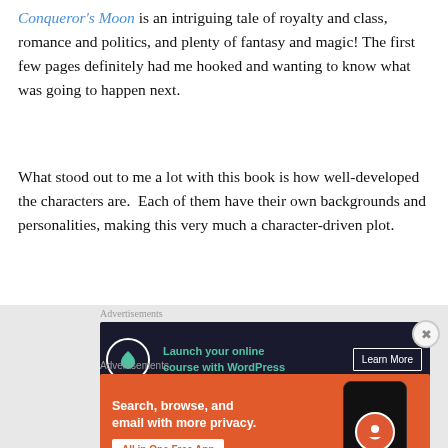Conqueror's Moon is an intriguing tale of royalty and class, romance and politics, and plenty of fantasy and magic! The first few pages definitely had me hooked and wanting to know what was going to happen next.
What stood out to me a lot with this book is how well-developed the characters are.  Each of them have their own backgrounds and personalities, making this very much a character-driven plot.
[Figure (other): Advertisement banner: dark navy background with tree logo icon, green text 'Launch your online course with WordPress', white 'Learn More' button]
[Figure (other): Advertisement banner: orange background with white text 'Search, browse, and email with more privacy. All in One Free App' and DuckDuckGo logo with phone graphic]